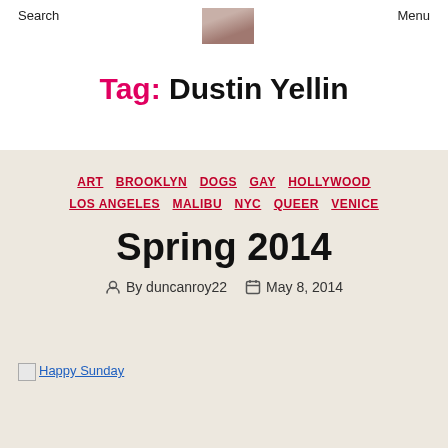Search   Menu
Tag: Dustin Yellin
ART  BROOKLYN  DOGS  GAY  HOLLYWOOD  LOS ANGELES  MALIBU  NYC  QUEER  VENICE
Spring 2014
By duncanroy22   May 8, 2014
Happy Sunday